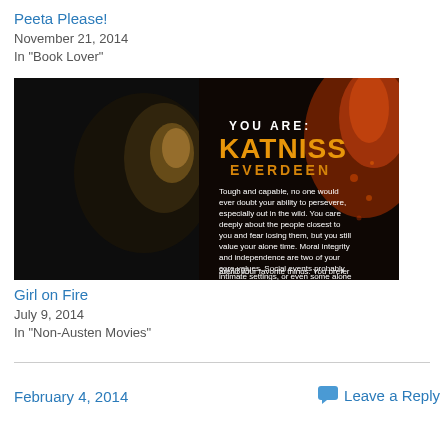Peeta Please!
November 21, 2014
In "Book Lover"
[Figure (photo): Katniss Everdeen quiz result image from Zimbio showing a profile of a woman with text 'You Are: Katniss Everdeen' in orange letters and a description of the character traits]
Girl on Fire
July 9, 2014
In "Non-Austen Movies"
February 4, 2014
Leave a Reply